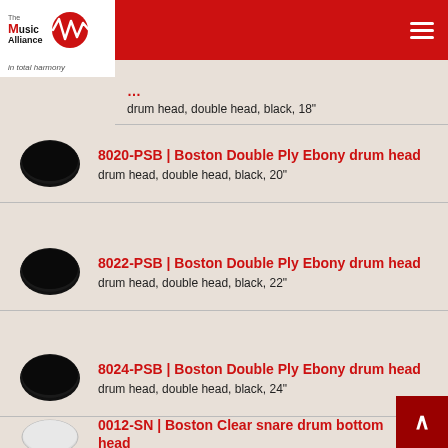The Music Alliance — in total harmony
drum head, double head, black, 18"
8020-PSB | Boston Double Ply Ebony drum head — drum head, double head, black, 20"
8022-PSB | Boston Double Ply Ebony drum head — drum head, double head, black, 22"
8024-PSB | Boston Double Ply Ebony drum head — drum head, double head, black, 24"
0012-SN | Boston Clear snare drum bottom head